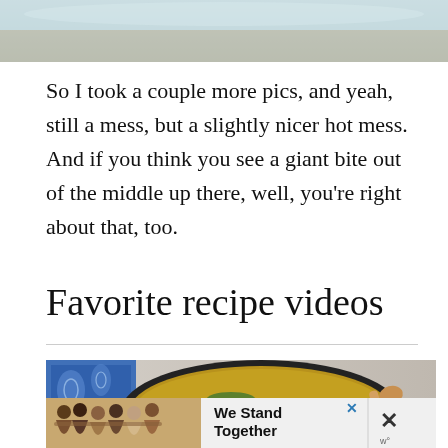[Figure (photo): Top portion of a food or kitchen photo, cropped — shows a blurred surface edge at top of page]
So I took a couple more pics, and yeah, still a mess, but a slightly nicer hot mess. And if you think you see a giant bite out of the middle up there, well, you're right about that, too.
Favorite recipe videos
[Figure (photo): Overhead photo of a pot of soup or stew (appears to be lentil soup with greens) with a spoon, next to a blue and white patterned cloth]
[Figure (photo): Advertisement banner: group of people with arms around each other, with text 'We Stand Together' and a close button]